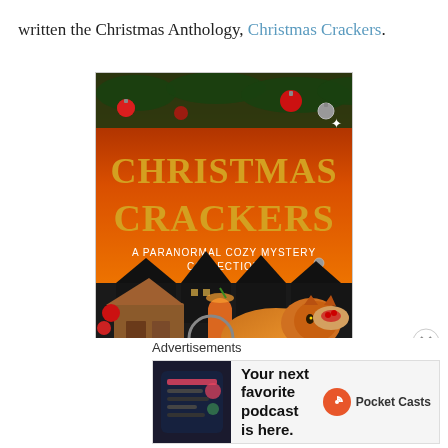written the Christmas Anthology, Christmas Crackers.
[Figure (illustration): Book cover of 'Christmas Crackers: A Paranormal Cozy Mystery Collection' featuring large gold gothic text, a silhouette of a town with orange sky, Christmas ornaments at top, an orange cat, gingerbread house, cocktail, and various festive foods.]
Advertisements
[Figure (other): Advertisement for Pocket Casts podcast app. Text reads: 'Your next favorite podcast is here.' with Pocket Casts logo and brand name.]